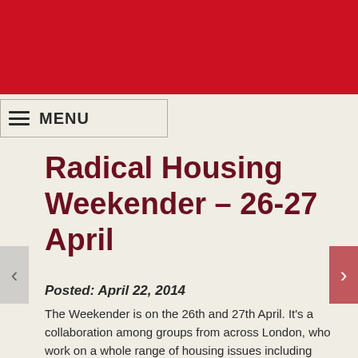MENU
Radical Housing Weekender – 26-27 April
Posted: April 22, 2014
The Weekender is on the 26th and 27th April. It's a collaboration among groups from across London, who work on a whole range of housing issues including private renting, access to welfare, squatting, co-operatives and social housing.
The housing crisis grows steadily deeper, and yet